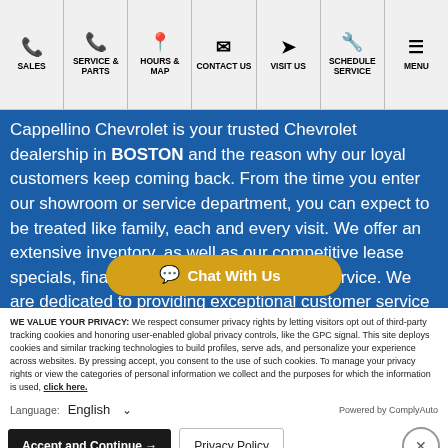[Figure (screenshot): Navigation bar with icons: SALES, SERVICE & PARTS, HOURS & MAP, CONTACT US, VISIT US, SCHEDULE SERVICE, MENU]
Cappellino Chevrolet is your trusted Chevrolet dealership in BOSTON and the reason why our loyal customers keep coming back. From the time you enter our showroom or service department, you can expect to be treated like family, each and every visit. We offer an extensive inventory, as well as our competitive lease specials, finance options and expert auto service. We are dedicated to providing exceptional customer service and we appreciate the opportunity to be an integral part of our community.
WE VALUE YOUR PRIVACY: We respect consumer privacy rights by letting visitors opt out of third-party tracking cookies and honoring user-enabled global privacy controls, like the GPC signal. This site deploys cookies and similar tracking technologies to build profiles, serve ads, and personalize your experience across websites. By pressing accept, you consent to the use of such cookies. To manage your privacy rights or view the categories of personal information we collect and the purposes for which the information is used, click here.
Language: English
Powered by ComplyAuto
Accept and Continue → Privacy Policy ×